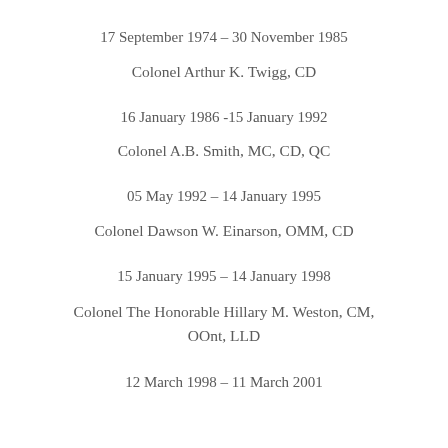17 September 1974 – 30 November 1985
Colonel Arthur K. Twigg, CD
16 January 1986 -15 January 1992
Colonel A.B. Smith, MC, CD, QC
05 May 1992 – 14 January 1995
Colonel Dawson W. Einarson, OMM, CD
15 January 1995 – 14 January 1998
Colonel The Honorable Hillary M. Weston, CM, OOnt, LLD
12 March 1998 – 11 March 2001